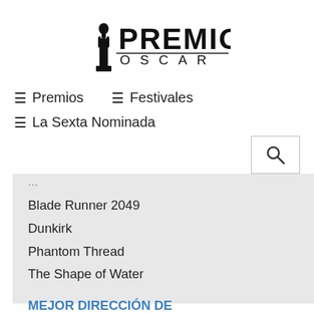[Figure (logo): Premios Oscar logo with Oscar statuette silhouette and bold text PREMIOS above OSCAR]
≡ Premios   ≡ Festivales
≡ La Sexta Nominada
Blade Runner 2049
Dunkirk
Phantom Thread
The Shape of Water
MEJOR DIRECCIÓN DE FOTOGRAFÍA
Blade Runner 2049
Dunkirk
The Florida Project
Mudbound